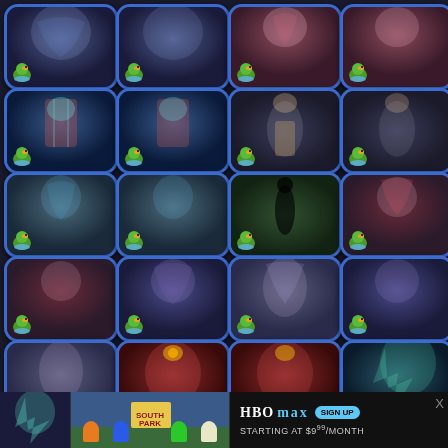[Figure (screenshot): Grid of 20 mobile game app icons arranged in 4 columns x 5 rows, each with a blue-bordered rounded square frame containing fantasy/horror artwork and a small green duck badge in the lower-left corner. Below is an HBO Max advertisement banner showing South Park characters and 'HBO MAX SIGN UP STARTING AT $9.99/MONTH'.]
[Figure (advertisement): HBO Max advertisement banner at bottom: South Park thumbnail on left, HBO max logo with SIGN UP button, text 'STARTING AT $9.99/MONTH', with X close button]